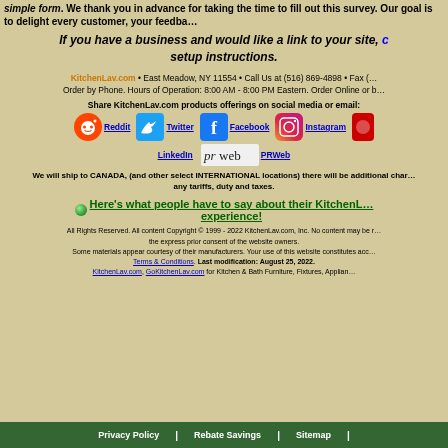simple form. We thank you in advance for taking the time to fill out this survey. Our goal is to delight every customer, your feedback is...
If you have a business and would like a link to your site, click here for setup instructions.
KitchenLav.com • East Meadow, NY 11554 • Call Us at (516) 869-4898 • Fax (...) Order by Phone. Hours of Operation: 8:00 AM - 8:00 PM Eastern. Order Online or by Phone...
Share KitchenLav.com products offerings on social media or email:
[Figure (infographic): Social media icons: Reddit, Twitter, Facebook, Instagram, and a partial icon on right; below: LinkedIn and PRWeb logo]
We will ship to CANADA, (and other select INTERNATIONAL locations) there will be additional charges for any tariffs, duty and taxes.
Here's what people have to say about their KitchenLav experience!
All Rights Reserved. All content Copyright © 1999 - 2022 KitchenLav.com, Inc. No content may be reproduced without the express prior consent of the website owners. Some materials appear courtesy of their manufacturers. Your use of this website constitutes acceptance of our Terms & Conditions. Last modification: August 25, 2022. KitchenLav.com, GoKitchenLav.com for Kitchen & Bath Furniture, Fixtures, Appliances...
Privacy Policy | Rebate Savings | Sitemap |